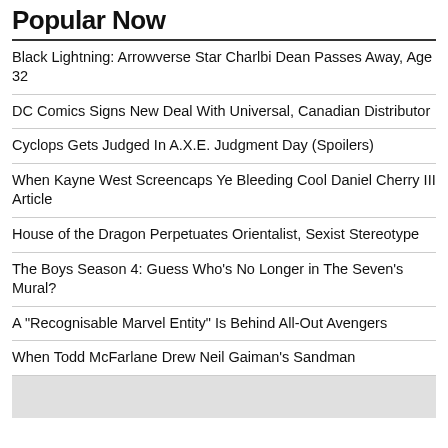Popular Now
Black Lightning: Arrowverse Star Charlbi Dean Passes Away, Age 32
DC Comics Signs New Deal With Universal, Canadian Distributor
Cyclops Gets Judged In A.X.E. Judgment Day (Spoilers)
When Kayne West Screencaps Ye Bleeding Cool Daniel Cherry III Article
House of the Dragon Perpetuates Orientalist, Sexist Stereotype
The Boys Season 4: Guess Who's No Longer in The Seven's Mural?
A "Recognisable Marvel Entity" Is Behind All-Out Avengers
When Todd McFarlane Drew Neil Gaiman's Sandman